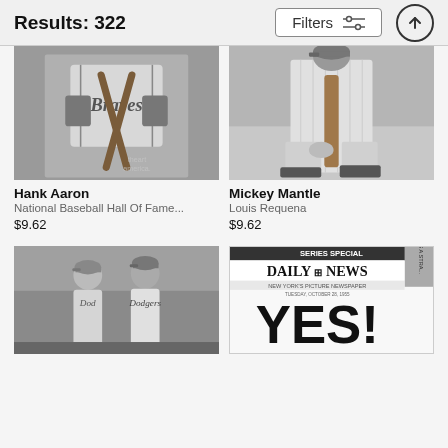Results: 322
[Figure (photo): Black and white photo of Hank Aaron in Braves uniform holding bats]
Hank Aaron
National Baseball Hall Of Fame...
$9.62
[Figure (photo): Black and white photo of Mickey Mantle in batting stance]
Mickey Mantle
Louis Requena
$9.62
[Figure (photo): Black and white photo of two Dodgers players in dugout]
[Figure (photo): New York Daily News front page with headline SERIES SPECIAL YES!]